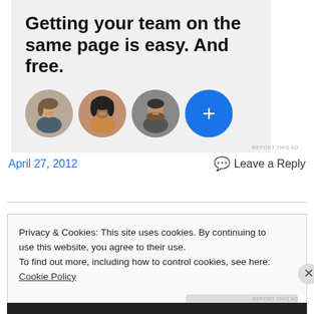[Figure (illustration): Advertisement banner with bold headline 'Getting your team on the same page is easy. And free.' and three circular profile photo avatars plus a blue circle with a plus sign, on a light gray background.]
REPORT THIS AD
April 27, 2012
Leave a Reply
Privacy & Cookies: This site uses cookies. By continuing to use this website, you agree to their use.
To find out more, including how to control cookies, see here: Cookie Policy
Close and accept